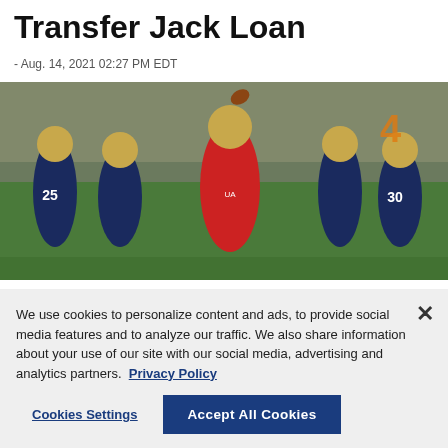Transfer Jack Loan
- Aug. 14, 2021 02:27 PM EDT
[Figure (photo): A quarterback in a red jersey and gold helmet throws a football during Notre Dame football practice, surrounded by teammates in navy uniforms and gold helmets.]
We use cookies to personalize content and ads, to provide social media features and to analyze our traffic. We also share information about your use of our site with our social media, advertising and analytics partners. Privacy Policy
Cookies Settings
Accept All Cookies